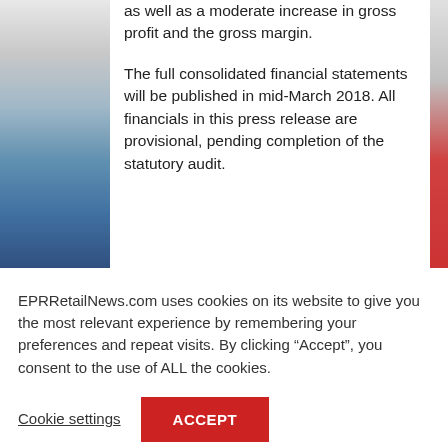as well as a moderate increase in gross profit and the gross margin.
The full consolidated financial statements will be published in mid-March 2018. All financials in this press release are provisional, pending completion of the statutory audit.
EPRRetailNews.com uses cookies on its website to give you the most relevant experience by remembering your preferences and repeat visits. By clicking “Accept”, you consent to the use of ALL the cookies.